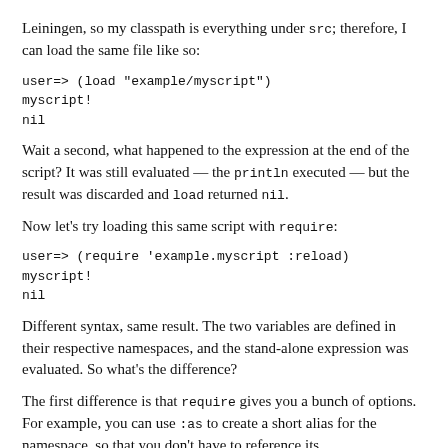Leiningen, so my classpath is everything under src; therefore, I can load the same file like so:
user=> (load "example/myscript")
myscript!
nil
Wait a second, what happened to the expression at the end of the script? It was still evaluated — the println executed — but the result was discarded and load returned nil.
Now let's try loading this same script with require:
user=> (require 'example.myscript :reload)
myscript!
nil
Different syntax, same result. The two variables are defined in their respective namespaces, and the stand-alone expression was evaluated. So what's the difference?
The first difference is that require gives you a bunch of options. For example, you can use :as to create a short alias for the namespace, so that you don't have to reference its